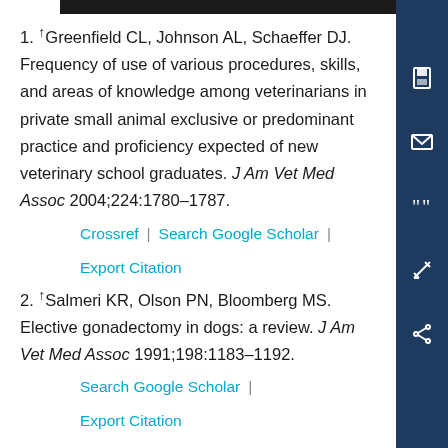1. ↑Greenfield CL, Johnson AL, Schaeffer DJ. Frequency of use of various procedures, skills, and areas of knowledge among veterinarians in private small animal exclusive or predominant practice and proficiency expected of new veterinary school graduates. J Am Vet Med Assoc 2004;224:1780–1787.
Crossref | Search Google Scholar | Export Citation
2. ↑Salmeri KR, Olson PN, Bloomberg MS. Elective gonadectomy in dogs: a review. J Am Vet Med Assoc 1991;198:1183–1192.
Search Google Scholar | Export Citation